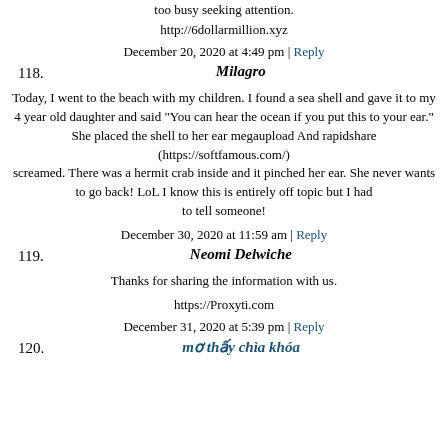too busy seeking attention.
http://6dollarmillion.xyz
December 20, 2020 at 4:49 pm | Reply
118. Milagro
Today, I went to the beach with my children. I found a sea shell and gave it to my 4 year old daughter and said "You can hear the ocean if you put this to your ear." She placed the shell to her ear megaupload And rapidshare (https://softfamous.com/) screamed. There was a hermit crab inside and it pinched her ear. She never wants to go back! LoL I know this is entirely off topic but I had to tell someone!
December 30, 2020 at 11:59 am | Reply
119. Neomi Delwiche
Thanks for sharing the information with us.
https://Proxyti.com
December 31, 2020 at 5:39 pm | Reply
120. mơ thấy chìa khóa